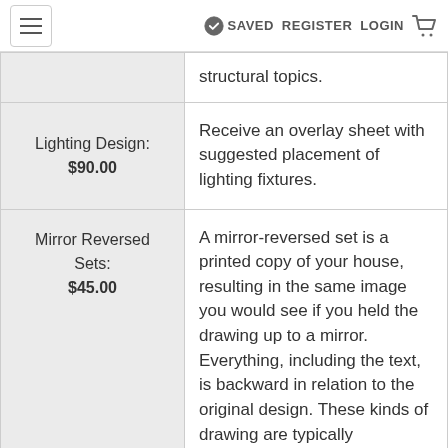SAVED  REGISTER  LOGIN
| Service / Price | Description |
| --- | --- |
|  | structural topics. |
| Lighting Design:
$90.00 | Receive an overlay sheet with suggested placement of lighting fixtures. |
| Mirror Reversed Sets:
$45.00 | A mirror-reversed set is a printed copy of your house, resulting in the same image you would see if you held the drawing up to a mirror. Everything, including the text, is backward in relation to the original design. These kinds of drawing are typically |